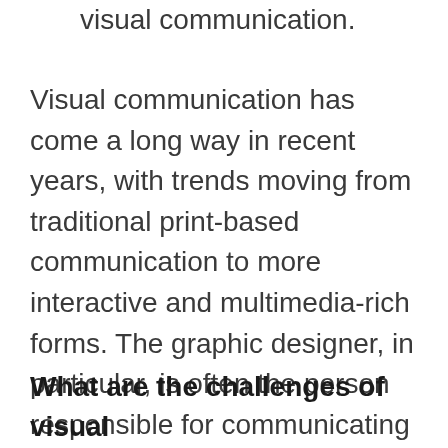visual communication.
Visual communication has come a long way in recent years, with trends moving from traditional print-based communication to more interactive and multimedia-rich forms. The graphic designer, in particular, is often the person responsible for communicating visual ideas through typography and layout. Graphic designers are also increasingly being called upon to develop visual identities for companies or brands.
What are the challenges of visual